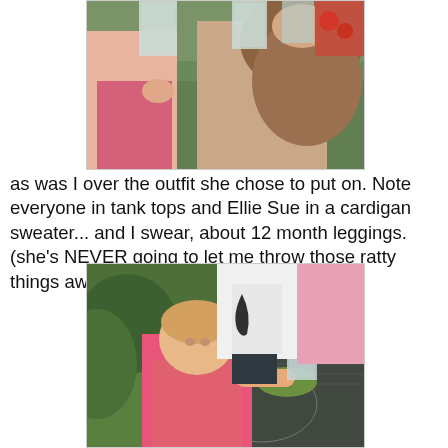[Figure (photo): Outdoor scene showing children from behind, one with brown hair, holding clear plastic cups, green garden chairs visible in background]
as was I over the outfit she chose to put on. Note everyone in tank tops and Ellie Sue in a cardigan sweater... and I swear, about 12 month leggings. (she's NEVER going to let me throw those ratty things away... they're her fave!)
[Figure (photo): Smiling toddler girl in pink cardigan sweater outdoors, reaching toward a glass on a metal patio table, other people standing in background, green plants visible]